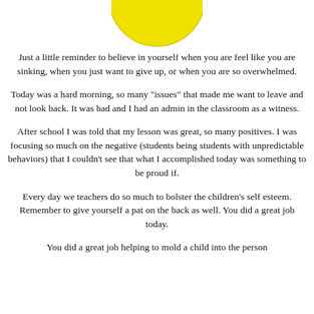[Figure (illustration): Bottom portion of a yellow smiley face emoji/ball against a white background with a thin border]
Just a little reminder to believe in yourself when you are feel like you are sinking, when you just want to give up, or when you are so overwhelmed.
Today was a hard morning, so many "issues" that made me want to leave and not look back. It was bad and I had an admin in the classroom as a witness.
After school I was told that my lesson was great, so many positives. I was focusing so much on the negative (students being students with unpredictable behaviors) that I couldn't see that what I accomplished today was something to be proud if.
Every day we teachers do so much to bolster the children's self esteem. Remember to give yourself a pat on the back as well. You did a great job today.
You did a great job helping to mold a child into the person